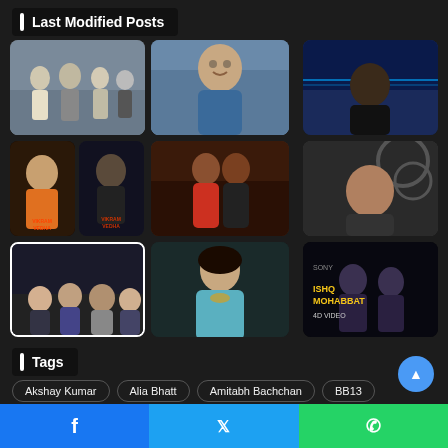Last Modified Posts
[Figure (photo): Grid of 9 Bollywood celebrity/movie thumbnail images in 3 rows]
Tags
Akshay Kumar
Alia Bhatt
Amitabh Bachchan
BB13
Facebook share | Twitter share | WhatsApp share